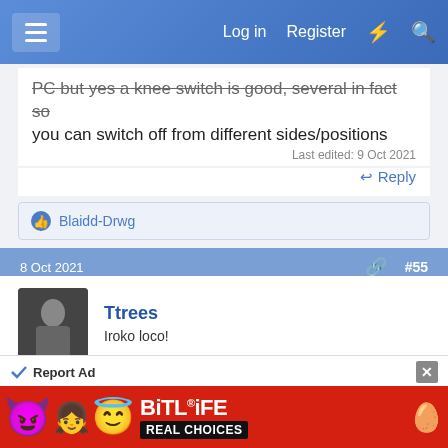Log in  Register
PC but yes a knee switch is good, several in fact so you can switch off from different sides/positions
Last edited: 9 Oct 2021
Reply
Blaidd-Drwg
8 Oct 2021  #55
Ttrees
Iroko loco!
Well we knew that Jacob was talking nonsense from the get go, no surprise there John.
Taking offense would be a bit silly. I think those who
Report Ad